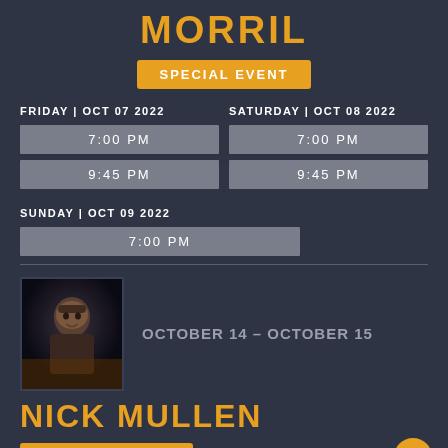MORRIL
SPECIAL EVENT
FRIDAY | OCT 07 2022
7:00 PM
9:45 PM
SATURDAY | OCT 08 2022
7:00 PM
9:45 PM
SUNDAY | OCT 09 2022
7:00 PM
[Figure (photo): Portrait photo of a male performer against dark background]
OCTOBER 14 – OCTOBER 15
NICK MULLEN
SPECIAL EVENT